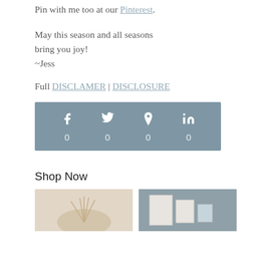Pin with me too at our Pinterest.
May this season and all seasons bring you joy!
~Jess
Full DISCLAMER | DISCLOSURE
[Figure (infographic): Social media share bar with Facebook, Twitter, Pinterest, LinkedIn icons and share counts all showing 0, on a muted blue-grey background]
Shop Now
[Figure (photo): Photo of dried pampas grass or wheat arrangement on light background]
[Figure (photo): Photo of framed art prints on grey wall]